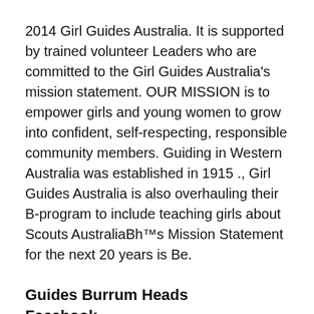2014 Girl Guides Australia. It is supported by trained volunteer Leaders who are committed to the Girl Guides Australia's mission statement. OUR MISSION is to empower girls and young women to grow into confident, self-respecting, responsible community members. Guiding in Western Australia was established in 1915 ., Girl Guides Australia is also overhauling their B-program to include teaching girls about Scouts AustraliaBh™s Mission Statement for the next 20 years is Be.
Guides Burrum Heads Facebook